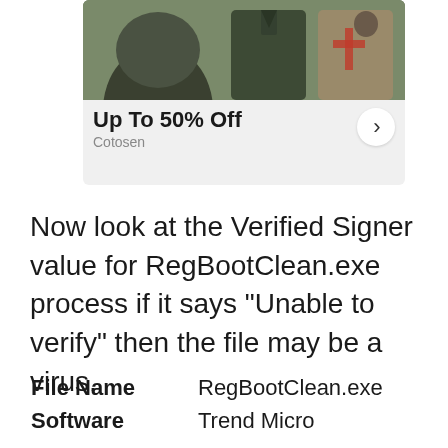[Figure (screenshot): Advertisement banner showing military-style clothing with text 'Up To 50% Off' and brand name 'Cotosen' with a right-arrow button]
Now look at the Verified Signer value for RegBootClean.exe process if it says "Unable to verify" then the file may be a virus.
| File Name | RegBootClean.exe |
| Software | Trend Micro |